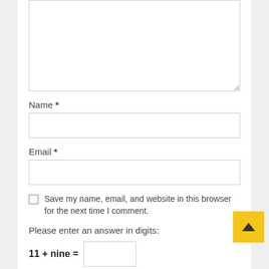[Figure (screenshot): Comment form textarea (empty, resizable) at top of visible area]
Name *
[Figure (screenshot): Name input text field (empty)]
Email *
[Figure (screenshot): Email input text field (empty)]
Save my name, email, and website in this browser for the next time I comment.
Please enter an answer in digits:
[Figure (screenshot): Answer input text field (empty)]